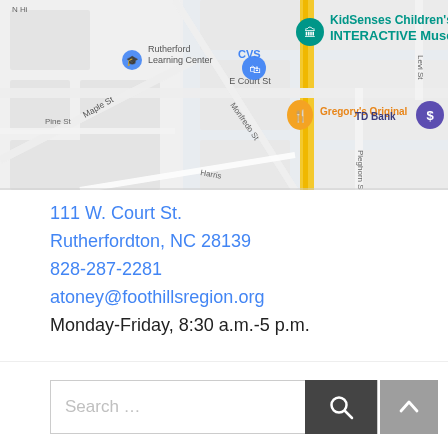[Figure (map): Google Maps screenshot showing the area around 111 W. Court St., Rutherfordton, NC. Shows KidSenses Children's INTERACTIVE Museum (teal marker), Rutherford Learning Center, CVS, Gregory's Original (orange marker), TD Bank, street labels including E Court St, Maple St, Pine St, Monfredo St, Harris, Pleghorn St, Levi St, N Hi (truncated).]
111 W. Court St.
Rutherfordton, NC 28139
828-287-2281
atoney@foothillsregion.org
Monday-Friday, 8:30 a.m.-5 p.m.